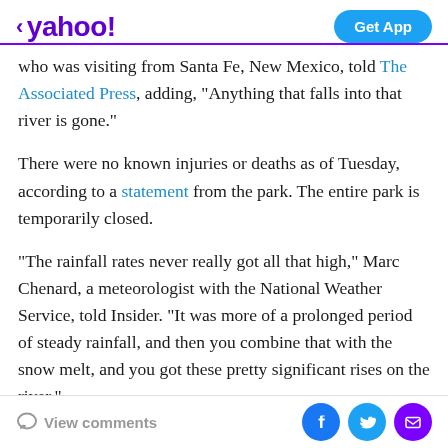< yahoo! | Get App
who was visiting from Santa Fe, New Mexico, told The Associated Press, adding, "Anything that falls into that river is gone."
There were no known injuries or deaths as of Tuesday, according to a statement from the park. The entire park is temporarily closed.
"The rainfall rates never really got all that high," Marc Chenard, a meteorologist with the National Weather Service, told Insider. "It was more of a prolonged period of steady rainfall, and then you combine that with the snow melt, and you got these pretty significant rises on the river."
View comments | Facebook | Twitter | Email